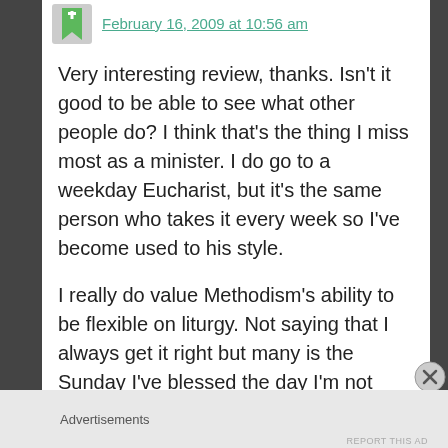February 16, 2009 at 10:56 am
Very interesting review, thanks. Isn't it good to be able to see what other people do? I think that's the thing I miss most as a minister. I do go to a weekday Eucharist, but it's the same person who takes it every week so I've become used to his style.
I really do value Methodism's ability to be flexible on liturgy. Not saying that I always get it right but many is the Sunday I've blessed the day I'm not constrained to official liturgies.
Advertisements